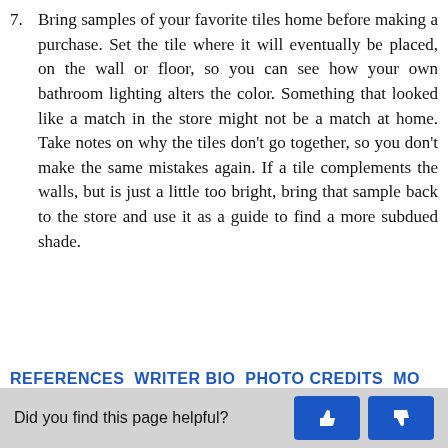7. Bring samples of your favorite tiles home before making a purchase. Set the tile where it will eventually be placed, on the wall or floor, so you can see how your own bathroom lighting alters the color. Something that looked like a match in the store might not be a match at home. Take notes on why the tiles don't go together, so you don't make the same mistakes again. If a tile complements the walls, but is just a little too bright, bring that sample back to the store and use it as a guide to find a more subdued shade.
REFERENCES   WRITER BIO   PHOTO CREDITS   MO...
Did you find this page helpful?